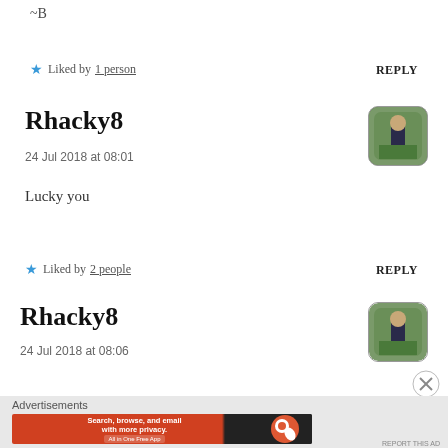~B
Liked by 1 person
REPLY
Rhacky8
24 Jul 2018 at 08:01
[Figure (photo): User avatar thumbnail showing a person outdoors]
Lucky you
Liked by 2 people
REPLY
Rhacky8
24 Jul 2018 at 08:06
[Figure (photo): User avatar thumbnail showing a person outdoors]
Advertisements
[Figure (screenshot): DuckDuckGo advertisement banner: Search, browse, and email with more privacy. All in One Free App]